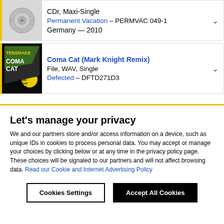CDr, Maxi-Single
Permanent Vacation – PERMVAC 049-1
Germany — 2010
Coma Cat (Mark Knight Remix)
File, WAV, Single
Defected – DFTD271D3
Let's manage your privacy
We and our partners store and/or access information on a device, such as unique IDs in cookies to process personal data. You may accept or manage your choices by clicking below or at any time in the privacy policy page. These choices will be signaled to our partners and will not affect browsing data. Read our Cookie and Internet Advertising Policy
Cookies Settings
Accept All Cookies